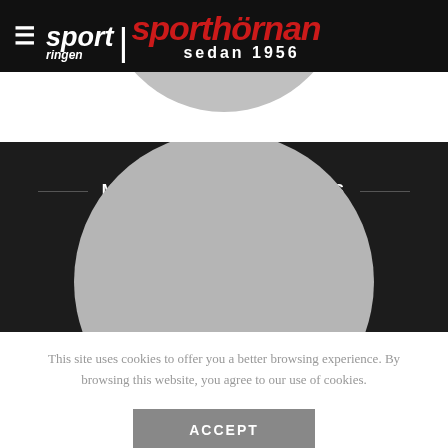sport ringen | sporthörnan sedan 1956
MIX AND MATCH STYLES
This site uses cookies to offer you a better browsing experience. By browsing this website, you agree to our use of cookies.
ACCEPT